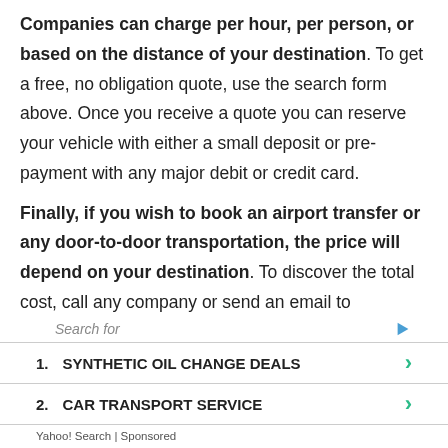Companies can charge per hour, per person, or based on the distance of your destination. To get a free, no obligation quote, use the search form above. Once you receive a quote you can reserve your vehicle with either a small deposit or pre-payment with any major debit or credit card.
Finally, if you wish to book an airport transfer or any door-to-door transportation, the price will depend on your destination. To discover the total cost, call any company or send an email to
[Figure (other): Yahoo Search sponsored ad widget with search bar and two list items: 1. SYNTHETIC OIL CHANGE DEALS, 2. CAR TRANSPORT SERVICE]